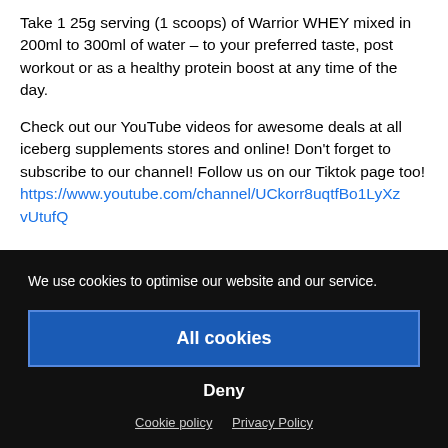Take 1 25g serving (1 scoops) of Warrior WHEY mixed in 200ml to 300ml of water – to your preferred taste, post workout or as a healthy protein boost at any time of the day.
Check out our YouTube videos for awesome deals at all iceberg supplements stores and online! Don't forget to subscribe to our channel! Follow us on our Tiktok page too! https://www.youtube.com/channel/UCkorr8uqtfBo1LyXzvUtufQ
We use cookies to optimise our website and our service.
All cookies
Deny
Cookie policy   Privacy Policy